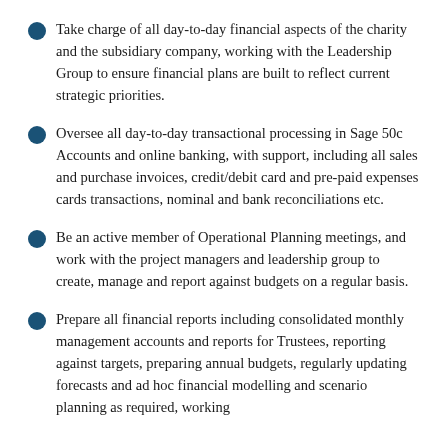Take charge of all day-to-day financial aspects of the charity and the subsidiary company, working with the Leadership Group to ensure financial plans are built to reflect current strategic priorities.
Oversee all day-to-day transactional processing in Sage 50c Accounts and online banking, with support, including all sales and purchase invoices, credit/debit card and pre-paid expenses cards transactions, nominal and bank reconciliations etc.
Be an active member of Operational Planning meetings, and work with the project managers and leadership group to create, manage and report against budgets on a regular basis.
Prepare all financial reports including consolidated monthly management accounts and reports for Trustees, reporting against targets, preparing annual budgets, regularly updating forecasts and ad hoc financial modelling and scenario planning as required, working…